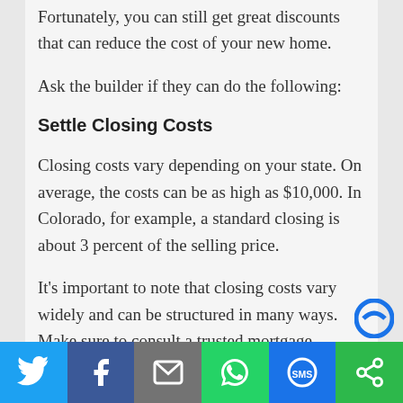Fortunately, you can still get great discounts that can reduce the cost of your new home.
Ask the builder if they can do the following:
Settle Closing Costs
Closing costs vary depending on your state. On average, the costs can be as high as $10,000. In Colorado, for example, a standard closing is about 3 percent of the selling price.
It’s important to note that closing costs vary widely and can be structured in many ways. Make sure to consult a trusted mortgage finance
Share bar: Twitter, Facebook, Email, WhatsApp, SMS, Other